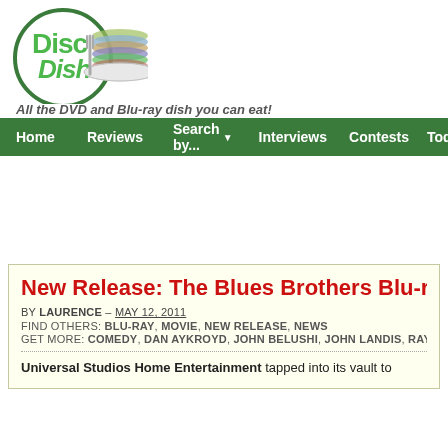[Figure (logo): Disc Dish logo with stacked DVDs on a plate and fork/knife, with circular green border containing 'Disc Dish' text in green]
All the DVD and Blu-ray dish you can eat!
Home | Reviews | Search by... | Interviews | Contests | Tod...
New Release: The Blues Brothers Blu-ra...
BY LAURENCE – MAY 12, 2011
FIND OTHERS: BLU-RAY, MOVIE, NEW RELEASE, NEWS
GET MORE: COMEDY, DAN AYKROYD, JOHN BELUSHI, JOHN LANDIS, RAY CHA...
Universal Studios Home Entertainment tapped into its vault to